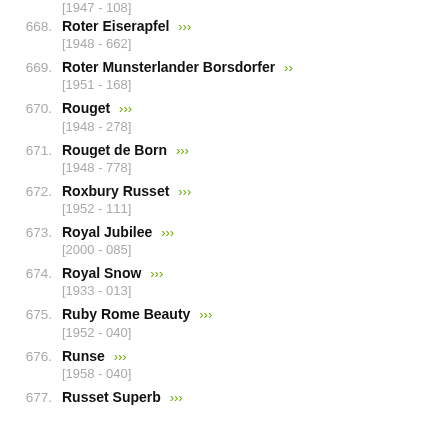668. Roter Eiserapfel [1948 - 662]
669. Roter Munsterlander Borsdorfer [1951 - 168]
670. Rouget [1948 - 278]
671. Rouget de Born [1948 - 778]
672. Roxbury Russet [1952 - 111]
673. Royal Jubilee [2000 - 085]
674. Royal Snow [1933 - 013]
675. Ruby Rome Beauty [1952 - 040]
676. Runse [1958 - 040]
677. Russet Superb